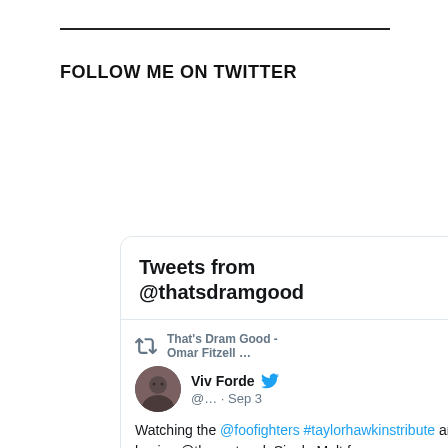FOLLOW ME ON TWITTER
[Figure (screenshot): Twitter widget showing 'Tweets from @thatsdramgood' with a tweet by Viv Forde (@...) on Sep 3: 'Watching the @foofighters #taylorhawkinstribute and having @thesextonuk Single Malt for #SaturdayNightSip'. The tweet was retweeted by That's Dram Good - Omar Fitzell ...]